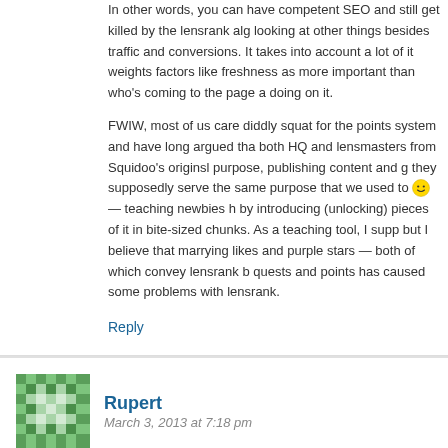In other words, you can have competent SEO and still get killed by the lensrank algorithm looking at other things besides traffic and conversions. It takes into account a lot of it weights factors like freshness as more important than who's coming to the page a doing on it.
FWIW, most of us care diddly squat for the points system and have long argued tha both HQ and lensmasters from Squidoo's originsl purpose, publishing content and g they supposedly serve the same purpose that we used to 🙂 — teaching newbies h by introducing (unlocking) pieces of it in bite-sized chunks. As a teaching tool, I supp but I believe that marrying likes and purple stars — both of which convey lensrank b quests and points has caused some problems with lensrank.
Reply
Rupert
March 3, 2013 at 7:18 pm
Ellen, I do agree that the CrowdIgnite thing is concerning. Though I would of thought tha have weighed the potential loss in traffic from google penalising with the increase in rev crowdignite? This may well be a mistake and if they do see this connection, am sure thi should end shortly.
Google is tightening up on a lot of things related to 'thin' and 'spun' content and Squidoo frontline of sites that will get dinged unless they do something about this. Currently mos success is due to how SEO friendly it has been, which has rewarded the writers there w Though as googles algorithm gets more 'intelligent' and becomes able to spot 'thin/spu